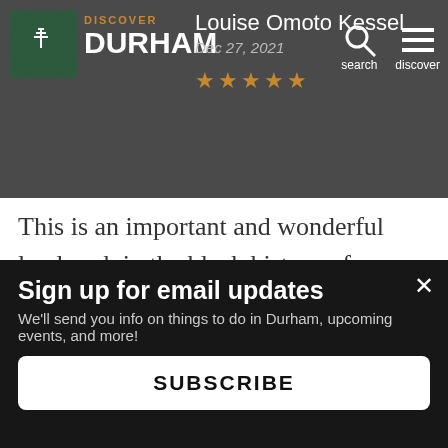Discover Durham
Louise Omoto Kessel
Dec 27, 2021
★★★★★
This is an important and wonderful landmark in the black history of Durham and a registered historic building. It houses Collage Dance company, lots of cultural events like an exl mc
This website uses cookies to ensure you get the best experience on our website.
Sign up for email updates
We'll send you info on things to do in Durham, upcoming events, and more!
SUBSCRIBE